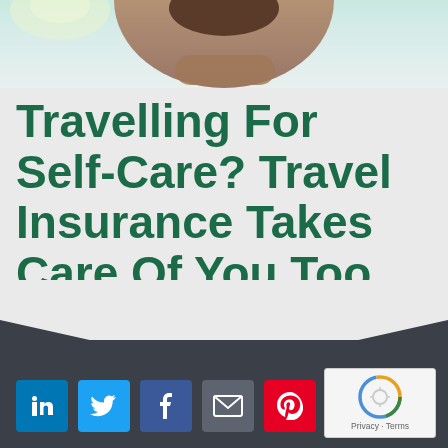[Figure (photo): Person with arms crossed viewed from behind, standing outdoors with light background sky]
Travelling For Self-Care? Travel Insurance Takes Care Of You Too
[Figure (infographic): Dark footer bar with social media icons (LinkedIn, Twitter, Facebook, Email, Pinterest) and a reCAPTCHA widget showing Privacy and Terms links]